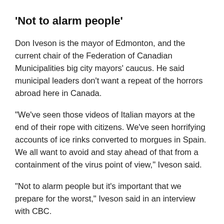'Not to alarm people'
Don Iveson is the mayor of Edmonton, and the current chair of the Federation of Canadian Municipalities big city mayors' caucus. He said municipal leaders don't want a repeat of the horrors abroad here in Canada.
"We've seen those videos of Italian mayors at the end of their rope with citizens. We've seen horrifying accounts of ice rinks converted to morgues in Spain. We all want to avoid and stay ahead of that from a containment of the virus point of view," Iveson said.
"Not to alarm people but it's important that we prepare for the worst," Iveson said in an interview with CBC.